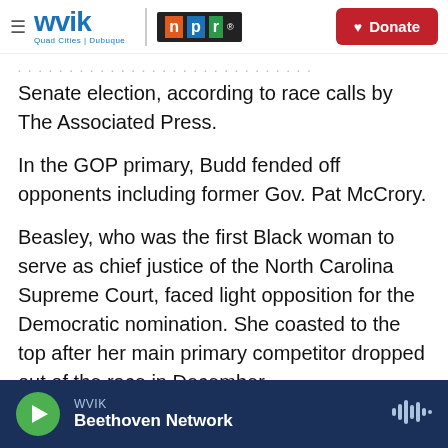WVIK | npr | Donate
Senate election, according to race calls by The Associated Press.
In the GOP primary, Budd fended off opponents including former Gov. Pat McCrory.
Beasley, who was the first Black woman to serve as chief justice of the North Carolina Supreme Court, faced light opposition for the Democratic nomination. She coasted to the top after her main primary competitor dropped out of the race in December.
WVIK Beethoven Network